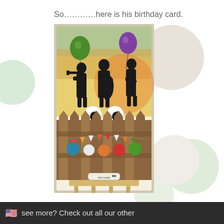So…………here is his birthday card.
[Figure (photo): A handmade birthday card displayed on a small wooden easel. The card features silhouettes of jazz musicians holding balloons — a green glittery balloon and a purple glittery balloon. At the bottom of the card is a wooden fence with googly eyes peeking over it, colorful banner bunting (triangular flags), and circular dot embellishments in teal, white, orange, red, and green. The card is propped on a small wooden easel with a label at the bottom.]
Happy Birthday Tyrone. We love you!!!!!
see more? Check out all our other